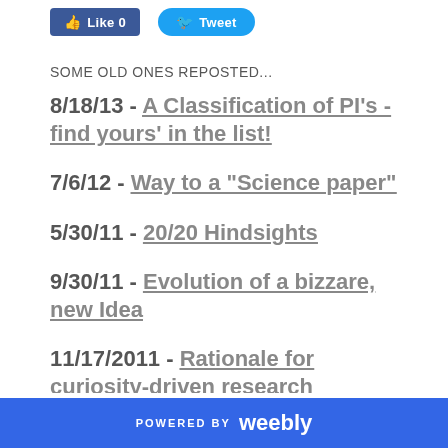[Figure (other): Facebook Like button (blue, 'Like 0') and Twitter Tweet button (blue rounded, 'Tweet')]
SOME OLD ONES REPOSTED...
8/18/13 - A Classification of PI's - find yours' in the list!
7/6/12 - Way to a "Science paper"
5/30/11 - 20/20 Hindsights
9/30/11 - Evolution of a bizzare, new Idea
11/17/2011 - Rationale for curiosity-driven research
POWERED BY weebly